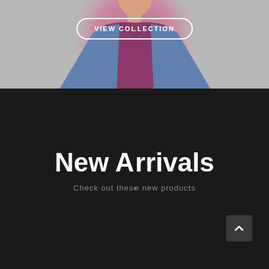[Figure (photo): Fashion photo of a man wearing a blue denim jacket over a purple/magenta t-shirt, with a pink circular gradient background. A 'VIEW COLLECTION' button is overlaid on the image.]
New Arrivals
Check out these new products
[Figure (photo): Product card showing a man model, with a blue 'Sale!' badge in the lower left corner.]
[Figure (photo): Product card showing another man model.]